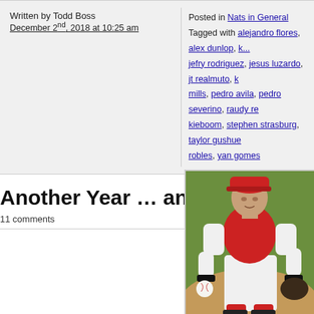Written by Todd Boss
December 2nd, 2018 at 10:25 am
Posted in Nats in General
Tagged with alejandro flores, alex dunlop, jefry rodriguez, jesus luzardo, jt realmuto, mills, pedro avila, pedro severino, raudy re, kieboom, stephen strasburg, taylor gushue, robles, yan gomes
Another Year … another set of crummy Gold Gl
11 comments
[Figure (photo): A baseball catcher in red and white uniform holding a ball, wearing chest protector and red cap, on a baseball field]